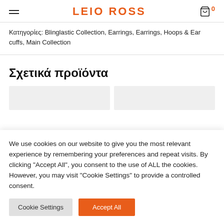LEIO ROSS
Κατηγορίες: Blinglastic Collection, Earrings, Earrings, Hoops & Ear cuffs, Main Collection
Σχετικά προϊόντα
[Figure (screenshot): Two product thumbnail placeholders shown as grey rectangles]
We use cookies on our website to give you the most relevant experience by remembering your preferences and repeat visits. By clicking "Accept All", you consent to the use of ALL the cookies. However, you may visit "Cookie Settings" to provide a controlled consent.